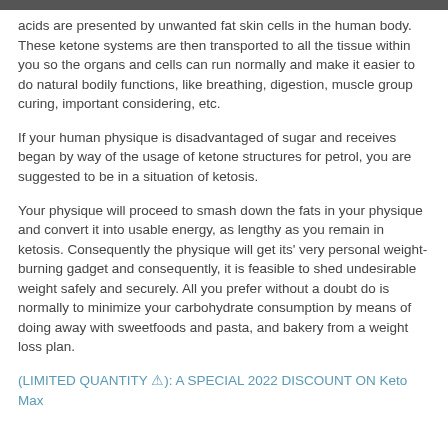acids are presented by unwanted fat skin cells in the human body. These ketone systems are then transported to all the tissue within you so the organs and cells can run normally and make it easier to do natural bodily functions, like breathing, digestion, muscle group curing, important considering, etc.
If your human physique is disadvantaged of sugar and receives began by way of the usage of ketone structures for petrol, you are suggested to be in a situation of ketosis.
Your physique will proceed to smash down the fats in your physique and convert it into usable energy, as lengthy as you remain in ketosis. Consequently the physique will get its' very personal weight-burning gadget and consequently, it is feasible to shed undesirable weight safely and securely. All you prefer without a doubt do is normally to minimize your carbohydrate consumption by means of doing away with sweetfoods and pasta, and bakery from a weight loss plan.
(LIMITED QUANTITY ⚠): A SPECIAL 2022 DISCOUNT ON Keto Max